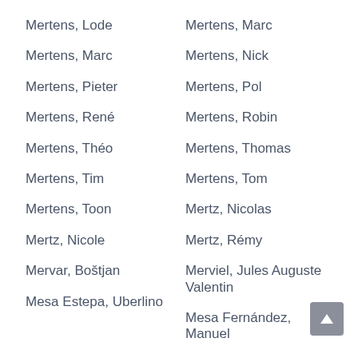Mertens, Lode
Mertens, Marc
Mertens, Pieter
Mertens, René
Mertens, Théo
Mertens, Tim
Mertens, Toon
Mertz, Nicole
Mervar, Boštjan
Mesa Estepa, Uberlino
Mertens, Marc
Mertens, Nick
Mertens, Pol
Mertens, Robin
Mertens, Thomas
Mertens, Tom
Mertz, Nicolas
Mertz, Rémy
Merviel, Jules Auguste Valentin
Mesa Fernández, Manuel